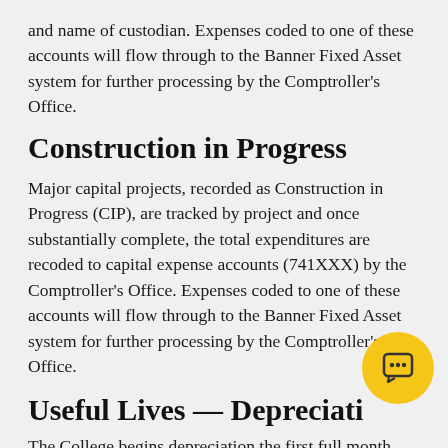and name of custodian. Expenses coded to one of these accounts will flow through to the Banner Fixed Asset system for further processing by the Comptroller's Office.
Construction in Progress
Major capital projects, recorded as Construction in Progress (CIP), are tracked by project and once substantially complete, the total expenditures are recoded to capital expense accounts (741XXX) by the Comptroller's Office. Expenses coded to one of these accounts will flow through to the Banner Fixed Asset system for further processing by the Comptroller's Office.
Useful Lives — Depreciati…
The College begins depreciation the first full month